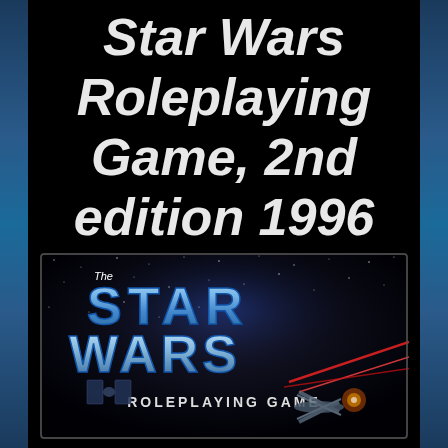Star Wars Roleplaying Game, 2nd edition 1996
[Figure (photo): Book cover of The Star Wars Roleplaying Game showing the title in large metallic letters over a space battle scene with TIE fighters and X-wings, subtitle ROLEPLAYING GAME below]